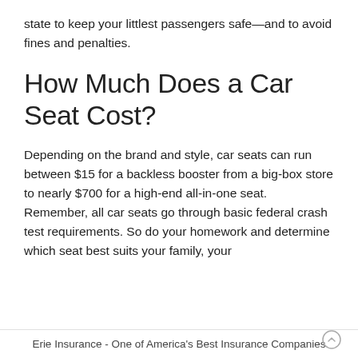state to keep your littlest passengers safe—and to avoid fines and penalties.
How Much Does a Car Seat Cost?
Depending on the brand and style, car seats can run between $15 for a backless booster from a big-box store to nearly $700 for a high-end all-in-one seat. Remember, all car seats go through basic federal crash test requirements. So do your homework and determine which seat best suits your family, your
Erie Insurance - One of America's Best Insurance Companies